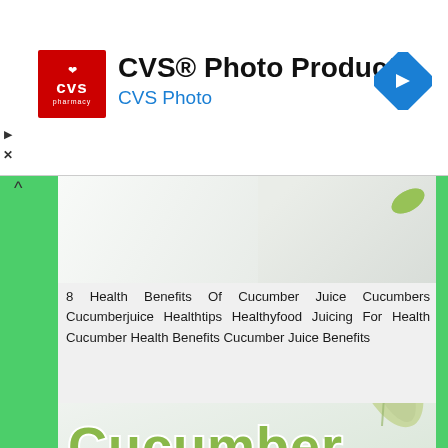[Figure (screenshot): CVS Photo Products advertisement banner with CVS pharmacy logo (red background), title 'CVS® Photo Products', subtitle 'CVS Photo' in blue, and a blue diamond navigation arrow icon on the right.]
8 Health Benefits Of Cucumber Juice Cucumbers Cucumberjuice Healthtips Healthyfood Juicing For Health Cucumber Health Benefits Cucumber Juice Benefits
[Figure (illustration): Promotional graphic showing 'Cucumber' in large green rounded text with white stroke, and 'Juice' in italic cream text on a green rounded rectangle badge. A cucumber leaf is visible in the lower right. Background is light gray-green.]